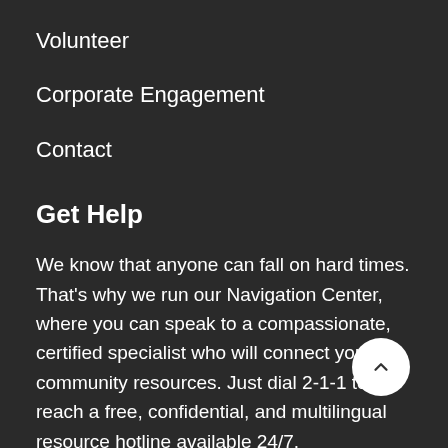Volunteer
Corporate Engagement
Contact
Get Help
We know that anyone can fall on hard times. That's why we run our Navigation Center, where you can speak to a compassionate, certified specialist who will connect you to community resources. Just dial 2-1-1 to reach a free, confidential, and multilingual resource hotline available 24/7.